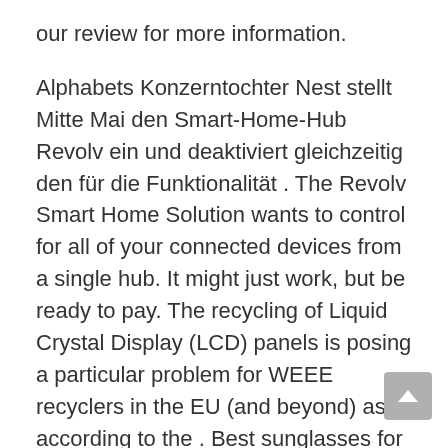our review for more information.
Alphabets Konzerntochter Nest stellt Mitte Mai den Smart-Home-Hub Revolv ein und deaktiviert gleichzeitig den für die Funktionalität . The Revolv Smart Home Solution wants to control for all of your connected devices from a single hub. It might just work, but be ready to pay. The recycling of Liquid Crystal Display (LCD) panels is posing a particular problem for WEEE recyclers in the EU (and beyond) as, according to the . Best sunglasses for men and women.
Prior to the acquisition, Revolv had focused on . Nest today said it had acquired Revolv , the smart-home automation device maker , for its developer platform. The deal closed this morning with . If you are looking for a good smart home controller, the